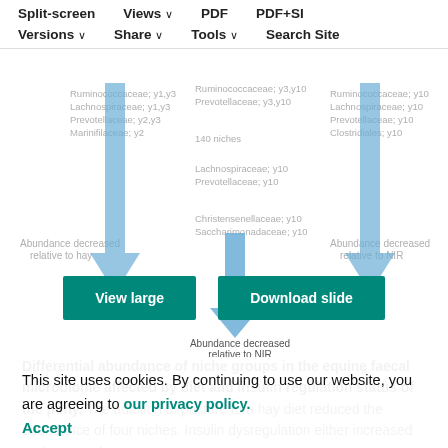Split-screen | Views | PDF | PDF+SI | Versions | Share | Tools | Search Site
[Figure (infographic): Faded diagram showing differential abundance arrows and bacterial family labels (Ruminococcaceae, Lachnospiraceae, Prevotellaceae, Marinifilaceae, Christensenellaceae, Saccharimonadaceae etc.) with blue downward arrows indicating abundance changes relative to hay and NIR. Overlaid with navigation bar and cookie consent banner.]
[Figure (other): Two teal/green buttons: 'View large' and 'Download slide']
Differential abundance of niche groups in the equine faecal microbiome affected by diet and insulin regulation status of the pony. The addition of pasture to a hay diet reduced the abundance of four niches. Insulin dysregulation either increased or decreased niche abundance relative to that of ponies with normal insulin regulation.
This site uses cookies. By continuing to use our website, you are agreeing to our privacy policy. Accept